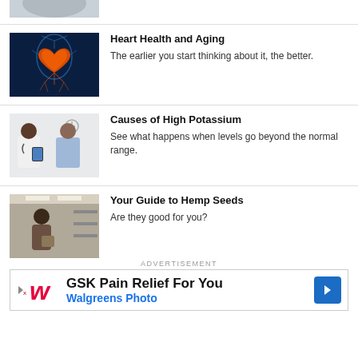[Figure (photo): Partial cropped image at top of page]
[Figure (photo): Heart anatomy illustration showing human heart with arteries glowing orange on dark blue background]
Heart Health and Aging
The earlier you start thinking about it, the better.
[Figure (photo): Doctor and patient looking at tablet in medical office]
Causes of High Potassium
See what happens when levels go beyond the normal range.
[Figure (photo): Person in grocery store or market aisle]
Your Guide to Hemp Seeds
Are they good for you?
ADVERTISEMENT
GSK Pain Relief For You Walgreens Photo